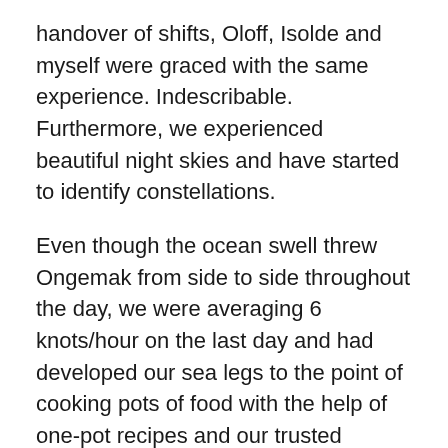handover of shifts, Oloff, Isolde and myself were graced with the same experience. Indescribable. Furthermore, we experienced beautiful night skies and have started to identify constellations.
Even though the ocean swell threw Ongemak from side to side throughout the day, we were averaging 6 knots/hour on the last day and had developed our sea legs to the point of cooking pots of food with the help of one-pot recipes and our trusted wonderbag. By the time Ongemak turned towards land, she really started to make a run for it with 30 knots blowing onto her beam. We made it into Luderitz around 6pm where Oloff and Isolde tied us to our swing mooring.